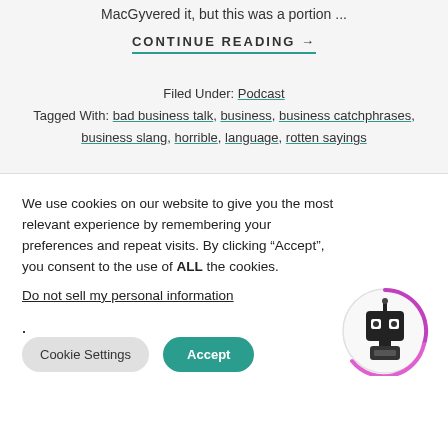MacGyvered it, but this was a portion ...
CONTINUE READING →
Filed Under: Podcast
Tagged With: bad business talk, business, business catchphrases, business slang, horrible, language, rotten sayings
We use cookies on our website to give you the most relevant experience by remembering your preferences and repeat visits. By clicking "Accept", you consent to the use of ALL the cookies.
Do not sell my personal information.
Cookie Settings
Accept